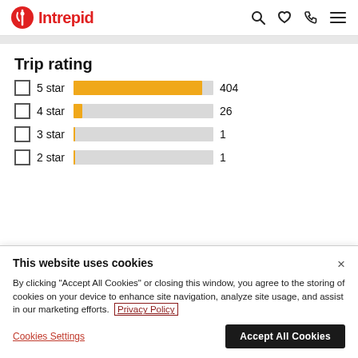Intrepid
Trip rating
[Figure (bar-chart): Trip rating]
This website uses cookies
By clicking "Accept All Cookies" or closing this window, you agree to the storing of cookies on your device to enhance site navigation, analyze site usage, and assist in our marketing efforts. Privacy Policy
Cookies Settings
Accept All Cookies